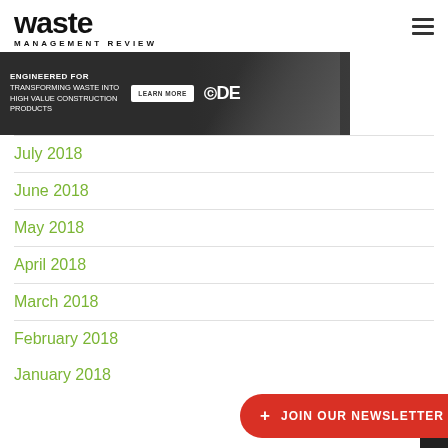waste MANAGEMENT REVIEW
[Figure (other): CDE advertisement banner: ENGINEERED FOR TRANSFORMING WASTE INTO HIGH VALUE CONSTRUCTION PRODUCTS — LEARN MORE button — CDE logo — workers in background]
July 2018
June 2018
May 2018
April 2018
March 2018
February 2018
January 2018
+ JOIN OUR NEWSLETTER